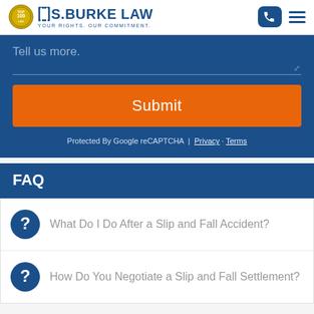[Figure (logo): S. Burke Law logo with badge icon, text 'S.BURKE LAW YOUR RIGHTS. OUR COMMITMENT.' and navigation icons (phone button, hamburger menu)]
Tell us more.
Submit
Protected By Google reCAPTCHA | Privacy · Terms
FAQ
What Do I Do After a Slip and Fall Accident?
How Do You Negotiate a Slip and Fall Settlement?